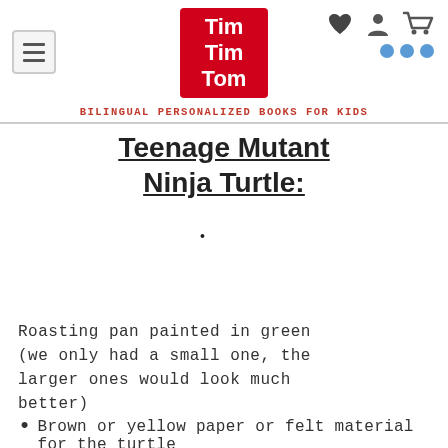[Figure (logo): TimTimTom logo: red square with white bold text reading Tim Tim Tom]
Bilingual Personalized Books For Kids
Teenage Mutant Ninja Turtle:
Roasting pan painted in green (we only had a small one, the larger ones would look much better)
Brown or yellow paper or felt material for the turtle